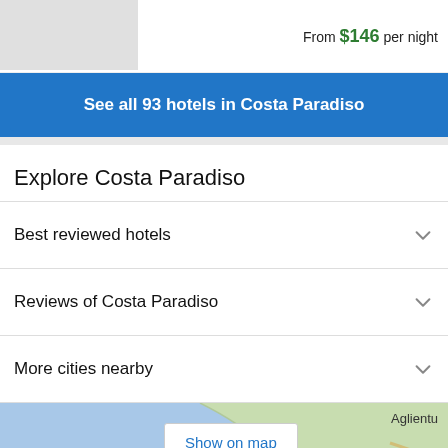[Figure (screenshot): Hotel thumbnail image placeholder (gray rectangle)]
From $146 per night
See all 93 hotels in Costa Paradiso
Explore Costa Paradiso
Best reviewed hotels
Reviews of Costa Paradiso
More cities nearby
[Figure (map): Map showing coastal area with Aglientu label and Show on map button]